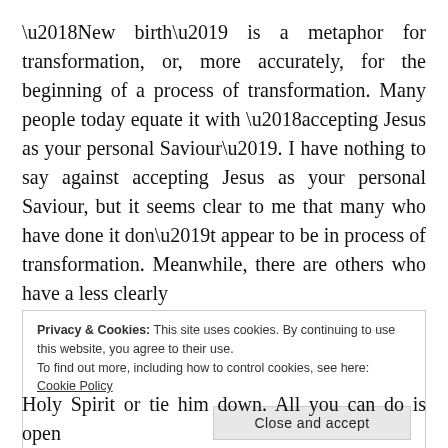‘New birth’ is a metaphor for transformation, or, more accurately, for the beginning of a process of transformation. Many people today equate it with ‘accepting Jesus as your personal Saviour’. I have nothing to say against accepting Jesus as your personal Saviour, but it seems clear to me that many who have done it don’t appear to be in process of transformation. Meanwhile, there are others who have a less clearly
Privacy & Cookies: This site uses cookies. By continuing to use this website, you agree to their use.
To find out more, including how to control cookies, see here: Cookie Policy
Holy Spirit or tie him down. All you can do is open